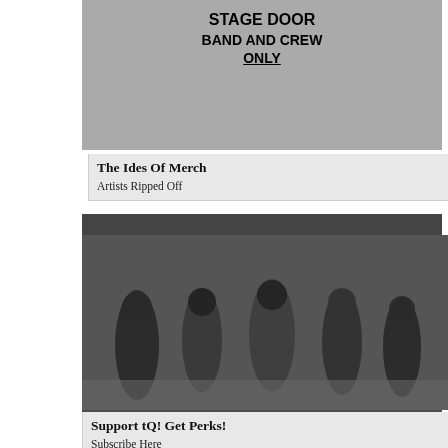[Figure (photo): Stage door sign reading STAGE DOOR BAND AND CREW ONLY]
The Ides Of Merch
Artists Ripped Off
[Figure (photo): Black and white photo of people dancing at a nightclub or concert]
Support tQ! Get Perks!
Subscribe Here
TheQuietus.com August 18th, 2022
The Quietus
Latest News Headlines »
In Extremis »